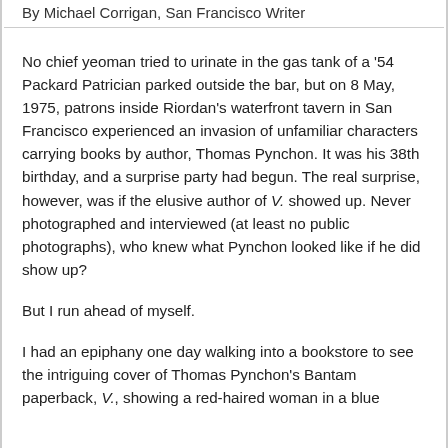By Michael Corrigan, San Francisco Writer
No chief yeoman tried to urinate in the gas tank of a '54 Packard Patrician parked outside the bar, but on 8 May, 1975, patrons inside Riordan's waterfront tavern in San Francisco experienced an invasion of unfamiliar characters carrying books by author, Thomas Pynchon. It was his 38th birthday, and a surprise party had begun. The real surprise, however, was if the elusive author of V. showed up. Never photographed and interviewed (at least no public photographs), who knew what Pynchon looked like if he did show up?
But I run ahead of myself.
I had an epiphany one day walking into a bookstore to see the intriguing cover of Thomas Pynchon's Bantam paperback, V., showing a red-haired woman in a blue